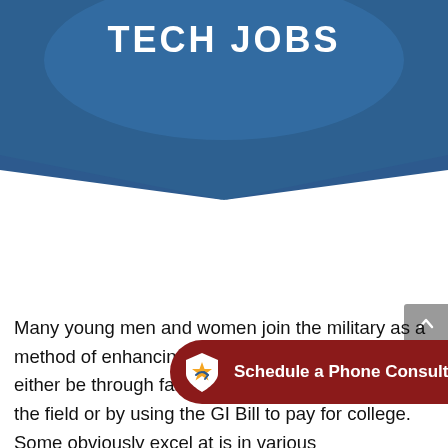[Figure (illustration): Blue angular banner/header background with a downward-pointing chevron shape, with 'TECH JOBS' written in bold white text at the top center]
Many young men and women join the military as a method of enhancing their education. This can either be through fantastic on-the-job training in the field or by using the GI Bill to pay for college. Some obviously excel at is in various technological fields. A big problem is that,
[Figure (infographic): Dark red pill-shaped button with a yellow star shield icon on the left and white bold text 'Schedule a Phone Consultation']